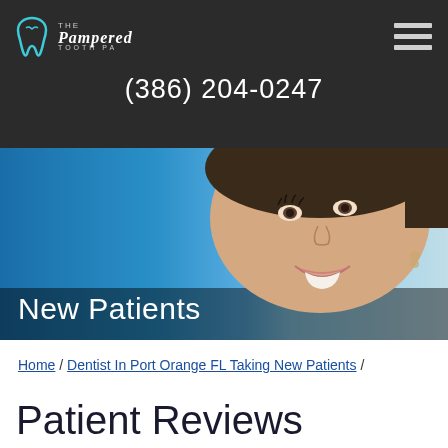[Figure (screenshot): The Pampered Tooth PA dental office logo with tooth icon in teal/blue and cursive text]
(386) 204-0247
[Figure (photo): Close-up photo of a smiling woman with dark hair looking up, bright smile showing white teeth, blurred blue background]
New Patients
Home / Dentist In Port Orange FL Taking New Patients /
Patient Reviews